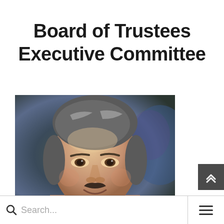Board of Trustees Executive Committee
[Figure (photo): Headshot photo of a middle-aged man with short gray-brown hair and a mustache, smiling, against a dark blurred background]
Search... [menu icon]